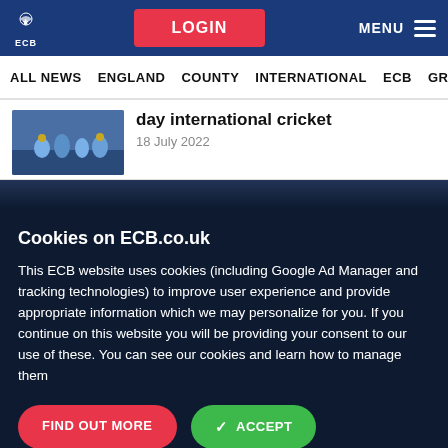ECB | LOGIN | MENU
ALL NEWS | ENGLAND | COUNTY | INTERNATIONAL | ECB | GRASSROOTS
day international cricket
18 July 2022
Cookies on ECB.co.uk
This ECB website uses cookies (including Google Ad Manager and tracking technologies) to improve user experience and provide appropriate information which we may personalize for you. If you continue on this website you will be providing your consent to our use of these. You can see our cookies and learn how to manage them
FIND OUT MORE
ACCEPT